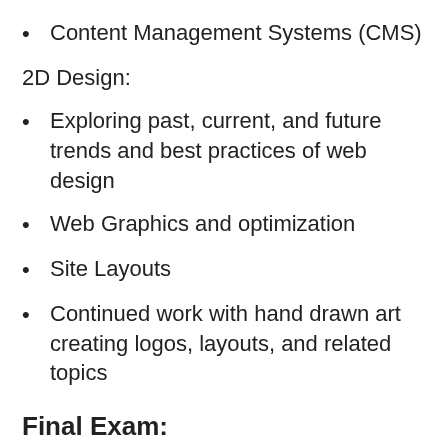Content Management Systems (CMS)
2D Design:
Exploring past, current, and future trends and best practices of web design
Web Graphics and optimization
Site Layouts
Continued work with hand drawn art creating logos, layouts, and related topics
Final Exam:
Online Portfolio featuring your best work of the year